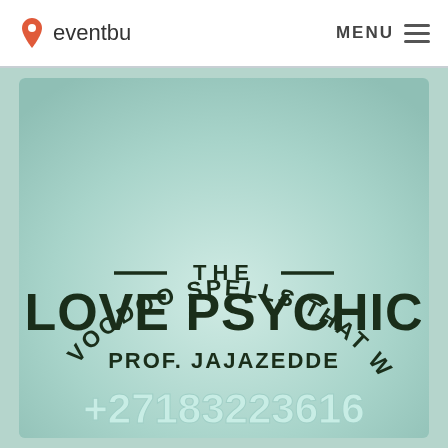eventbu   MENU
[Figure (illustration): Advertisement flyer with light teal/mint background. Text arranged in an arch at top reads 'VOODOO SPELLS THAT WORKS' in dark green bold letters. Below the arch: '— THE —' with horizontal rules, then 'LOVE PSYCHIC' in large dark bold letters, then 'PROF. JAJAZEDDE' in bold, then '+27183223616' in large white/light green bold letters at the bottom.]